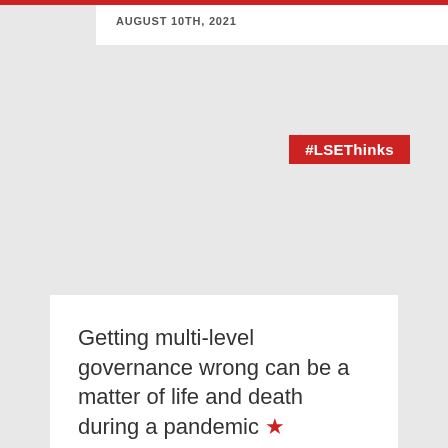AUGUST 10TH, 2021
#LSEThinks
Getting multi-level governance wrong can be a matter of life and death during a pandemic ★
MAY 14TH, 2021